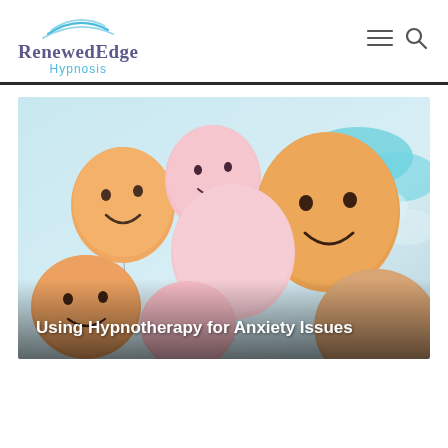RenewedEdge Hypnosis
[Figure (photo): A cluster of smiley-face balloons in pink, peach, and orange colors against a light blue sky background, with a teal/turquoise element in the upper right. White bold text overlay reads 'Using Hypnotherapy for Anxiety Issues'.]
Using Hypnotherapy for Anxiety Issues